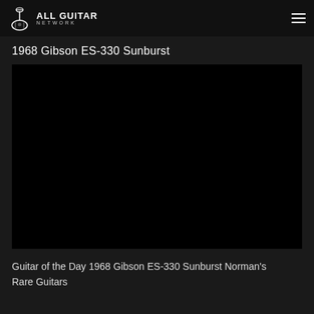ALL GUITAR NETWORK
1968 Gibson ES-330 Sunburst
[Figure (screenshot): Embedded video player showing dark/black content area for a guitar video]
Guitar of the Day 1968 Gibson ES-330 Sunburst Norman's Rare Guitars